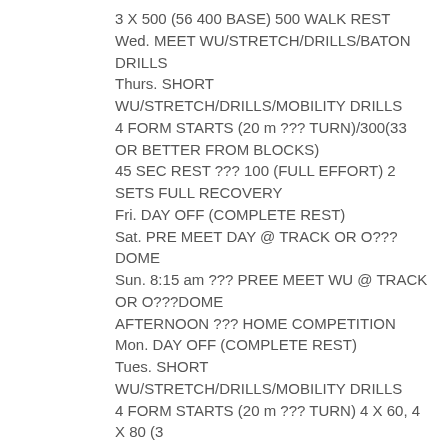3 X 500 (56 400 BASE) 500 WALK REST
Wed. MEET WU/STRETCH/DRILLS/BATON DRILLS
Thurs. SHORT WU/STRETCH/DRILLS/MOBILITY DRILLS
4 FORM STARTS (20 m ??? TURN)/300(33 OR BETTER FROM BLOCKS)
45 SEC REST ??? 100 (FULL EFFORT) 2 SETS FULL RECOVERY
Fri. DAY OFF (COMPLETE REST)
Sat. PRE MEET DAY @ TRACK OR O???DOME
Sun. 8:15 am ??? PREE MEET WU @ TRACK OR O???DOME
AFTERNOON ??? HOME COMPETITION
Mon. DAY OFF (COMPLETE REST)
Tues. SHORT WU/STRETCH/DRILLS/MOBILITY DRILLS
4 FORM STARTS (20 m ??? TURN) 4 X 60, 4 X 80 (3